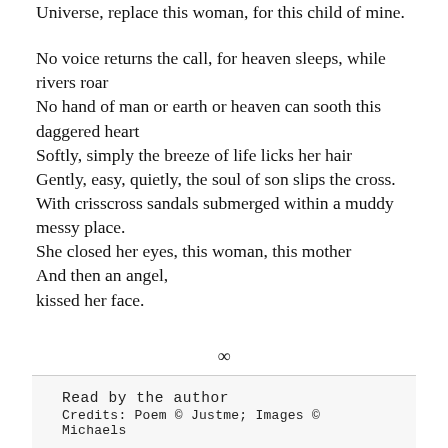Universe, replace this woman, for this child of mine.

No voice returns the call, for heaven sleeps, while rivers roar
No hand of man or earth or heaven can sooth this daggered heart
Softly, simply the breeze of life licks her hair
Gently, easy, quietly, the soul of son slips the cross.
With crisscross sandals submerged within a muddy messy place.
She closed her eyes, this woman, this mother
And then an angel,
kissed her face.
∞
Read by the author
Credits: Poem © Justme; Images © Michaels